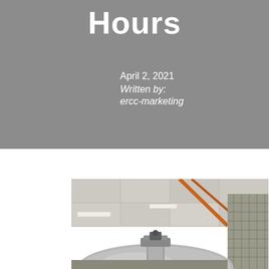Hours
April 2, 2021
Written by:
ercc-marketing
[Figure (photo): Interior of an aircraft hangar showing the top of an aircraft (likely a helicopter or small plane) with a silver/metallic fuselage, industrial ceiling with fluorescent lights, orange structural beams, and metal grid walls in the background.]